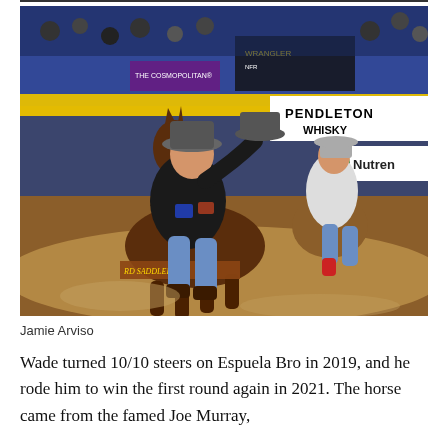[Figure (photo): Rodeo rider on horseback in an indoor arena, raising his cowboy hat to the crowd. A Pendleton Whisky banner and a Nutrena banner are visible in the background. The horse has a saddlery banner across its chest. Another rider is visible behind.]
Jamie Arviso
Wade turned 10/10 steers on Espuela Bro in 2019, and he rode him to win the first round again in 2021. The horse came from the famed Joe Murray,